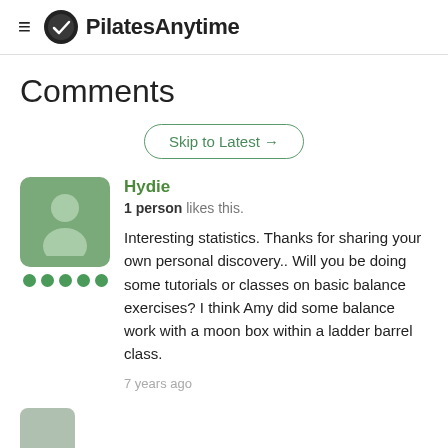PilatesAnytime
Comments
Skip to Latest →
Hydie
1 person likes this.
Interesting statistics. Thanks for sharing your own personal discovery.. Will you be doing some tutorials or classes on basic balance exercises? I think Amy did some balance work with a moon box within a ladder barrel class.
7 years ago